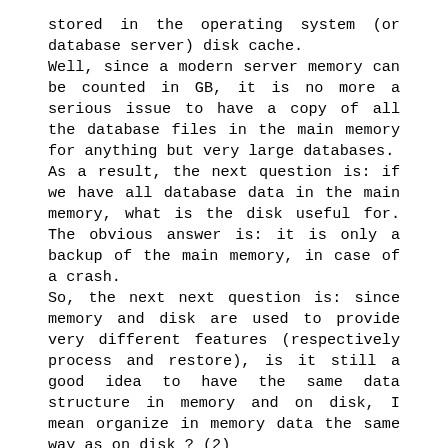stored in the operating system (or database server) disk cache. Well, since a modern server memory can be counted in GB, it is no more a serious issue to have a copy of all the database files in the main memory for anything but very large databases. As a result, the next question is: if we have all database data in the main memory, what is the disk useful for. The obvious answer is: it is only a backup of the main memory, in case of a crash. So, the next next question is: since memory and disk are used to provide very different features (respectively process and restore), is it still a good idea to have the same data structure in memory and on disk, I mean organize in memory data the same way as on disk ? (2) Well, I bet you will not be